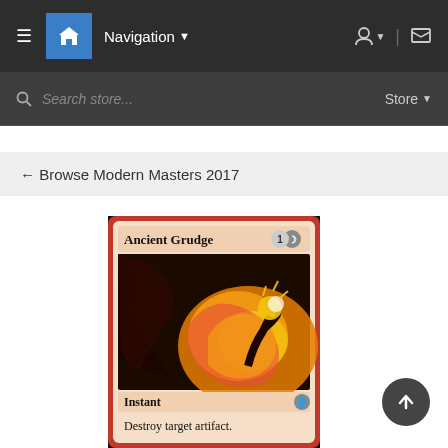Navigation | Search store... | Store
← Browse Modern Masters 2017
[Figure (illustration): Magic: The Gathering card 'Ancient Grudge' from Modern Masters 2017. Red-bordered instant card showing a dragon/creature breathing fire at a figure. Card text: 'Destroy target artifact.' Mana cost: 1 generic + red. Type line: Instant.]